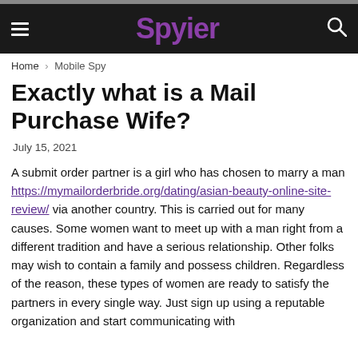Spyier
Home › Mobile Spy
Exactly what is a Mail Purchase Wife?
July 15, 2021
A submit order partner is a girl who has chosen to marry a man https://mymailorderbride.org/dating/asian-beauty-online-site-review/ via another country. This is carried out for many causes. Some women want to meet up with a man right from a different tradition and have a serious relationship. Other folks may wish to contain a family and possess children. Regardless of the reason, these types of women are ready to satisfy the partners in every single way. Just sign up using a reputable organization and start communicating with